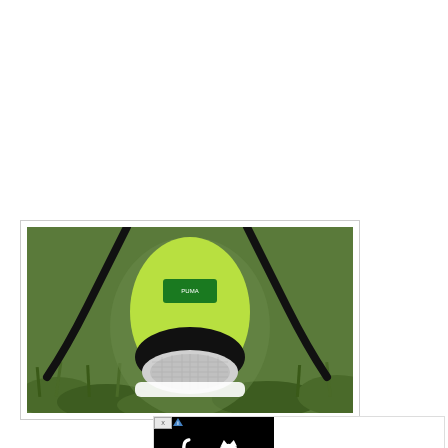[Figure (photo): Close-up photo of inside of a running shoe (Puma), showing green insole and heel area with black laces, on grass background]
[Figure (photo): Puma advertisement banner with black Puma logo on black background on left, two Puma sneakers (black and grey) shown on white background on right, with text SHOP PUMA.COM]